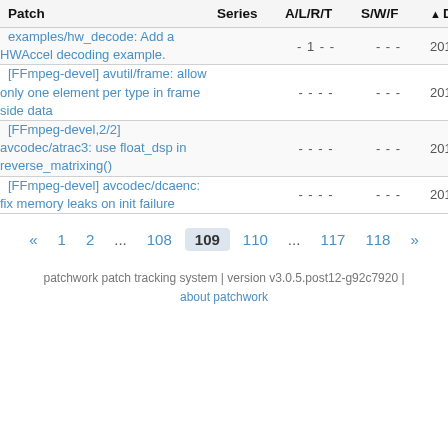| Patch | Series | A/L/R/T | S/W/F | Date |
| --- | --- | --- | --- | --- |
| examples/hw_decode: Add a HWAccel decoding example. |  | - 1 - - | - - - | 2017-07-26 |
| [FFmpeg-devel] avutil/frame: allow only one element per type in frame side data |  | - - - - | - - - | 2017-07-26 |
| [FFmpeg-devel,2/2] avcodec/atrac3: use float_dsp in reverse_matrixing() |  | - - - - | - - - | 2017-07-25 |
| [FFmpeg-devel] avcodec/dcaenc: fix memory leaks on init failure |  | - - - - | - - - | 2017-07-24 |
« 1 2 ... 108 109 110 ... 117 118 »
patchwork patch tracking system | version v3.0.5.post12-g92c7920 | about patchwork